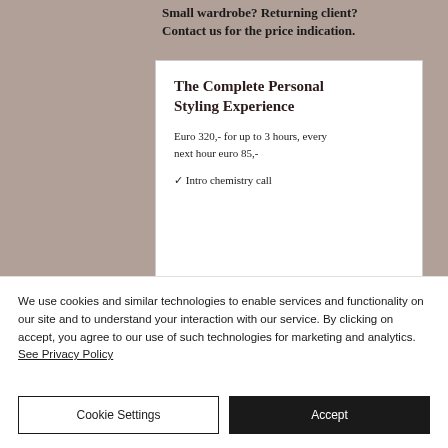[Figure (screenshot): Background photo of a person in clothing, partially visible behind a white card overlay]
Small wardrobe? Returning client? Contact us for the price indication.
The Complete Personal Styling Experience
Euro 320,- for up to 3 hours, every next hour euro 85,-
✓ Intro chemistry call
We use cookies and similar technologies to enable services and functionality on our site and to understand your interaction with our service. By clicking on accept, you agree to our use of such technologies for marketing and analytics. See Privacy Policy
Cookie Settings
Accept